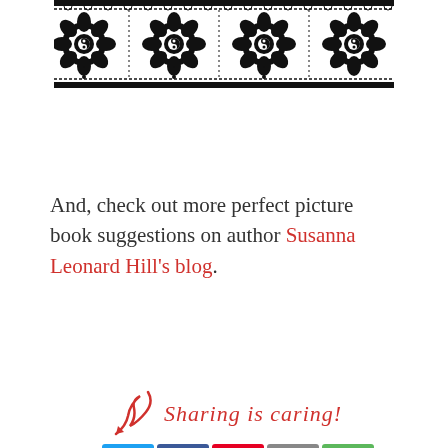[Figure (illustration): Decorative black and white henna/mandala pattern banner with intricate floral and geometric designs]
And, check out more perfect picture book suggestions on author Susanna Leonard Hill's blog.
[Figure (infographic): Sharing is caring! section with social media share buttons: Twitter (blue bird), Facebook (blue f), Pinterest (red P), Email (grey envelope), More (green dots icon). A red hand-drawn arrow points to the buttons with cursive red text 'Sharing is caring!']